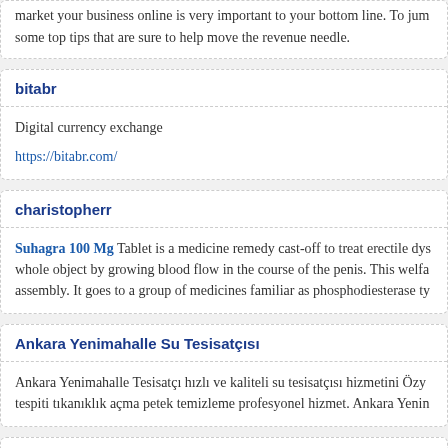market your business online is very important to your bottom line. To jump some top tips that are sure to help move the revenue needle.
bitabr
Digital currency exchange
https://bitabr.com/
charistopherr
Suhagra 100 Mg Tablet is a medicine remedy cast-off to treat erectile dys... whole object by growing blood flow in the course of the penis. This welfa... assembly. It goes to a group of medicines familiar as phosphodiesterase ty...
Ankara Yenimahalle Su Tesisatçısı
Ankara Yenimahalle Tesisatçı hızlı ve kaliteli su tesisatçısı hizmetini Özy... tespiti tıkanıklık açma petek temizleme profesyonel hizmet. Ankara Yenin...
Fikk...